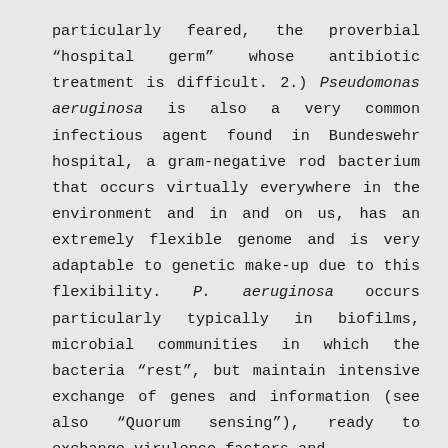particularly feared, the proverbial “hospital germ” whose antibiotic treatment is difficult. 2.) Pseudomonas aeruginosa is also a very common infectious agent found in Bundeswehr hospital, a gram-negative rod bacterium that occurs virtually everywhere in the environment and in and on us, has an extremely flexible genome and is very adaptable to genetic make-up due to this flexibility. P. aeruginosa occurs particularly typically in biofilms, microbial communities in which the bacteria “rest”, but maintain intensive exchange of genes and information (see also “Quorum sensing”), ready to exchange virulence factors and